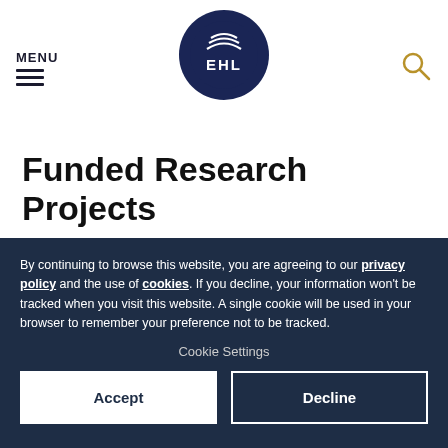MENU | EHL logo | Search icon
Funded Research Projects
Lopez, L. & Girardin, F., Project: Effects of Circular Economy Practices in the Hospitality Industry, Date: 01.09.2020 to 28.02.2022, External fundraising: HES-SO.
By continuing to browse this website, you are agreeing to our privacy policy and the use of cookies. If you decline, your information won't be tracked when you visit this website. A single cookie will be used in your browser to remember your preference not to be tracked.
Cookie Settings
Accept
Decline